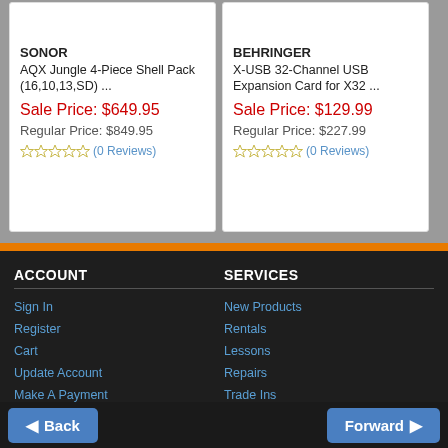SONOR
AQX Jungle 4-Piece Shell Pack (16,10,13,SD) ...
Sale Price: $649.95
Regular Price: $849.95
(0 Reviews)
BEHRINGER
X-USB 32-Channel USB Expansion Card for X32 ...
Sale Price: $129.99
Regular Price: $227.99
(0 Reviews)
ACCOUNT
Sign In
Register
Cart
Update Account
Make A Payment
My Orders
Gift Card Balance
SERVICES
New Products
Rentals
Lessons
Repairs
Trade Ins
Support
Financing
Back
Forward